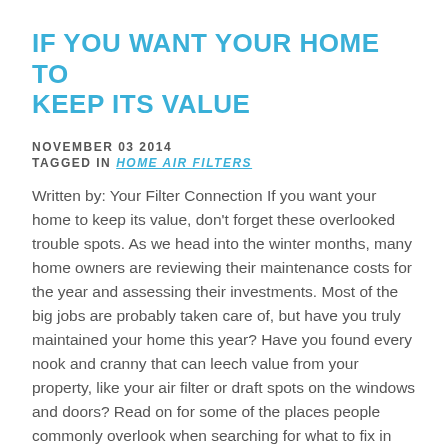IF YOU WANT YOUR HOME TO KEEP ITS VALUE
NOVEMBER 03 2014
TAGGED IN HOME AIR FILTERS
Written by: Your Filter Connection If you want your home to keep its value, don't forget these overlooked trouble spots. As we head into the winter months, many home owners are reviewing their maintenance costs for the year and assessing their investments. Most of the big jobs are probably taken care of, but have you truly maintained your home this year? Have you found every nook and cranny that can leech value from your property, like your air filter or draft spots on the windows and doors? Read on for some of the places people commonly overlook when searching for what to fix in their home. Furnaces The furnace is sometimes connected to your HVAC unit, but most of us…
READ MORE